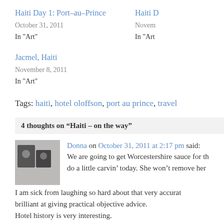Haiti Day 1: Port-au-Prince
October 31, 2011
In "Art"
Haiti D
Novem
In "Art"
Jacmel, Haiti
November 8, 2011
In "Art"
Tags: haiti, hotel oloffson, port au prince, travel
4 thoughts on “Haiti – on the way”
Donna on October 31, 2011 at 2:17 pm said:
We are going to get Worcestershire sauce for th
do a little carvin’ today. She won’t remove her
I am sick from laughing so hard about that very accurat
brilliant at giving practical objective advice.
Hotel history is very interesting.
Hugs and Thanks to all three of you and to Aly.
Reply ↓
Michael Hess on October 31, 2011 at 4:38 pm